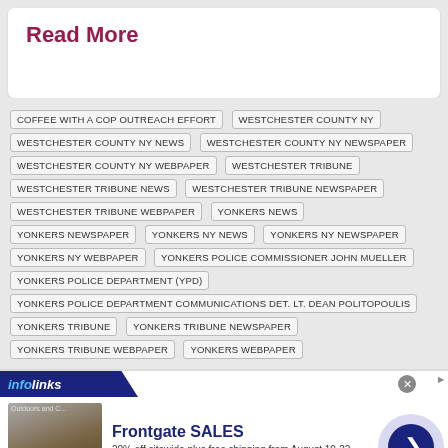Read More
COFFEE WITH A COP OUTREACH EFFORT
WESTCHESTER COUNTY NY
WESTCHESTER COUNTY NY NEWS
WESTCHESTER COUNTY NY NEWSPAPER
WESTCHESTER COUNTY NY WEBPAPER
WESTCHESTER TRIBUNE
WESTCHESTER TRIBUNE NEWS
WESTCHESTER TRIBUNE NEWSPAPER
WESTCHESTER TRIBUNE WEBPAPER
YONKERS NEWS
YONKERS NEWSPAPER
YONKERS NY NEWS
YONKERS NY NEWSPAPER
YONKERS NY WEBPAPER
YONKERS POLICE COMMISSIONER JOHN MUELLER
YONKERS POLICE DEPARTMENT (YPD)
YONKERS POLICE DEPARTMENT COMMUNICATIONS DET. LT. DEAN POLITOPOULIS
YONKERS TRIBUNE
YONKERS TRIBUNE NEWSPAPER
YONKERS TRIBUNE WEBPAPER
YONKERS WEBPAPER
[Figure (screenshot): Frontgate SALES advertisement banner with infolinks header. Ad shows outdoor furniture image, text 'Frontgate SALES', '20% off sitewide plus free shipping from August 19-22', 'frontgate.com', close button, and forward arrow button.]